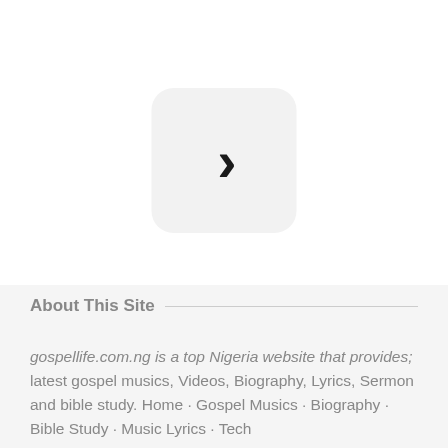[Figure (illustration): A rounded square icon button with a right-pointing chevron (greater-than symbol) centered inside, on a light gray background]
About This Site
gospellife.com.ng is a top Nigeria website that provides; latest gospel musics, Videos, Biography, Lyrics, Sermon and bible study. Home · Gospel Musics · Biography · Bible Study · Music Lyrics · Tech